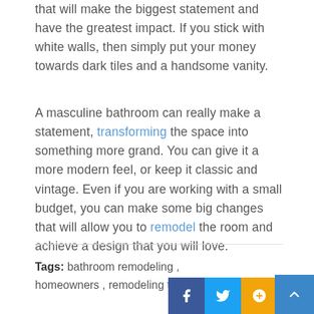that will make the biggest statement and have the greatest impact. If you stick with white walls, then simply put your money towards dark tiles and a handsome vanity.
A masculine bathroom can really make a statement, transforming the space into something more grand. You can give it a more modern feel, or keep it classic and vintage. Even if you are working with a small budget, you can make some big changes that will allow you to remodel the room and achieve a design that you will love.
Tags: bathroom remodeling , homeowners , remodeling tips , tips